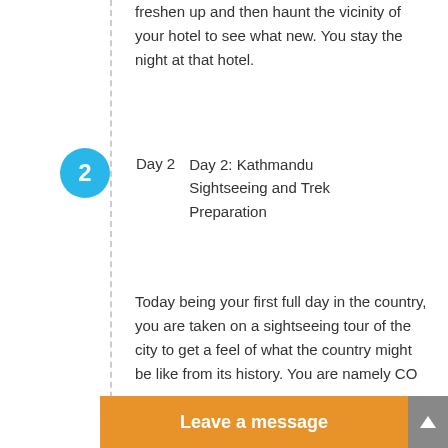freshen up and then haunt the vicinity of your hotel to see what new. You stay the night at that hotel.
Day 2   Day 2: Kathmandu Sightseeing and Trek Preparation
Today being your first full day in the country, you are taken on a sightseeing tour of the city to get a feel of what the country might be like from its history. You are namely CO
Leave a message